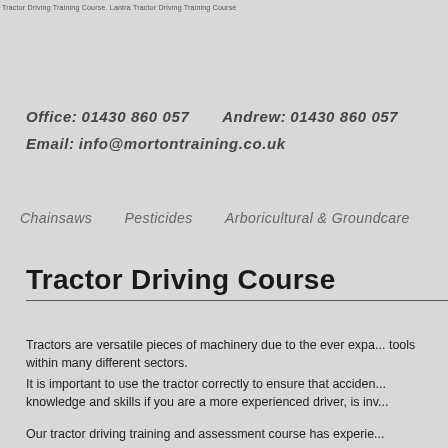Tractor Driving Training Course. Lantra Tractor Driving Training Course
Office:  01430 860 057        Andrew:  01430 860 057
Email:  info@mortontraining.co.uk
Chainsaws    Pesticides    Arboricultural & Groundcare
Tractor Driving Course
Tractors are versatile pieces of machinery due to the ever expa... tools within many different sectors.
It is important to use the tractor correctly to ensure that acciden... knowledge and skills if you are a more experienced driver, is inv...
Our tractor driving training and assessment course has experie...